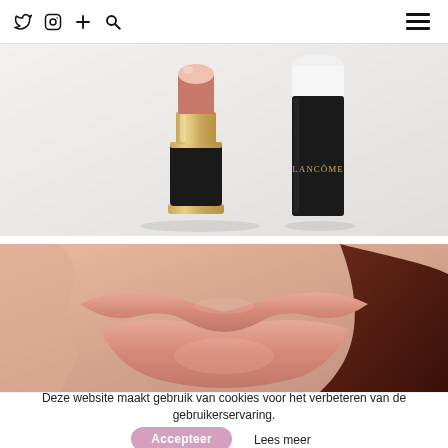Twitter Instagram + Search [hamburger menu]
[Figure (photo): Two Lancôme lip products on a light grey surface: an open lipstick with gold and black case showing a pink-nude bullet, and a closed black cylindrical lipstick cap with 'LANCÔME' printed on it.]
[Figure (photo): Close-up macro photo of a woman's lips wearing a pink-nude matte lipstick, with soft skin texture visible and dark hair in the background.]
Deze website maakt gebruik van cookies voor het verbeteren van de gebruikerservaring.
Accepteer   Lees meer